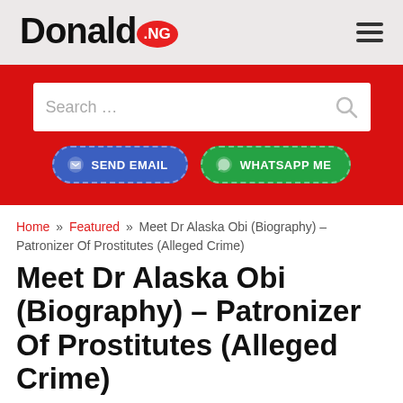[Figure (logo): Donald.NG website logo with red circle containing NG text]
[Figure (other): Hamburger menu icon (three horizontal lines)]
[Figure (screenshot): Red search bar section with white search input box reading 'Search ...' and a magnifying glass icon]
[Figure (other): Blue 'Send Email' button with dashed border and messenger icon, and green 'WhatsApp Me' button with dashed border and WhatsApp icon]
Home » Featured » Meet Dr Alaska Obi (Biography) – Patronizer Of Prostitutes (Alleged Crime)
Meet Dr Alaska Obi (Biography) – Patronizer Of Prostitutes (Alleged Crime)